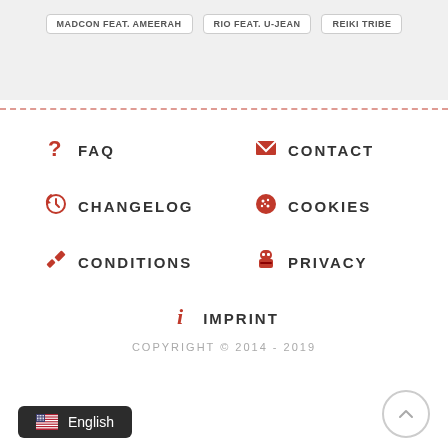MADCON FEAT. AMEERAH | RIO FEAT. U-JEAN | REIKI TRIBE
? FAQ
✉ CONTACT
↺ CHANGELOG
🍪 COOKIES
🔨 CONDITIONS
🕵 PRIVACY
ℹ IMPRINT
COPYRIGHT © 2014 - 2019
English